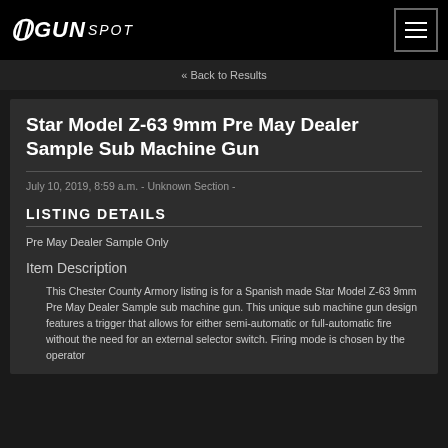GUN SPOT
« Back to Results
Star Model Z-63 9mm Pre May Dealer Sample Sub Machine Gun
July 10, 2019, 8:59 a.m. - Unknown Section -
LISTING DETAILS
Pre May Dealer Sample Only
Item Description
This Chester County Armory listing is for a Spanish made Star Model Z-63 9mm Pre May Dealer Sample sub machine gun. This unique sub machine gun design features a trigger that allows for either semi-automatic or full-automatic fire without the need for an external selector switch. Firing mode is chosen by the operator